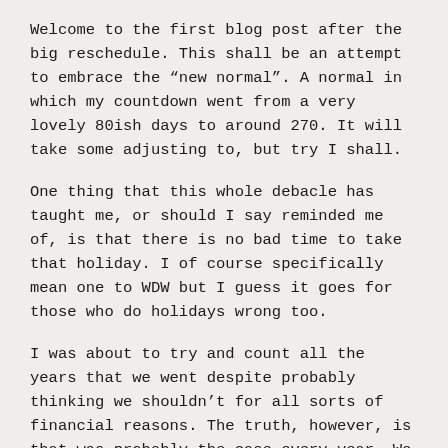Welcome to the first blog post after the big reschedule. This shall be an attempt to embrace the “new normal”. A normal in which my countdown went from a very lovely 80ish days to around 270. It will take some adjusting to, but try I shall.
One thing that this whole debacle has taught me, or should I say reminded me of, is that there is no bad time to take that holiday. I of course specifically mean one to WDW but I guess it goes for those who do holidays wrong too.
I was about to try and count all the years that we went despite probably thinking we shouldn’t for all sorts of financial reasons. The truth, however, is that was probably the case every year. We could always have spent the money on something else. The fact that we didn’t and instead blew all our disposable income on these trips is something I never regret. Now, later in